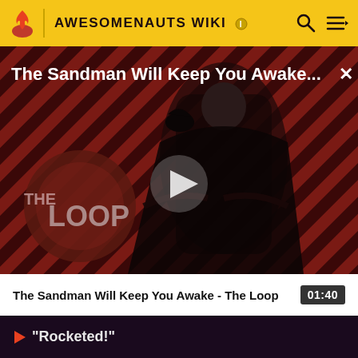AWESOMENAUTS WIKI
[Figure (screenshot): Video thumbnail for 'The Sandman Will Keep You Awake - The Loop' showing a dark-cloaked figure against a red diagonal striped background with The Loop logo overlay and a play button in the center]
The Sandman Will Keep You Awake...
The Sandman Will Keep You Awake - The Loop    01:40
"Rocketed!"